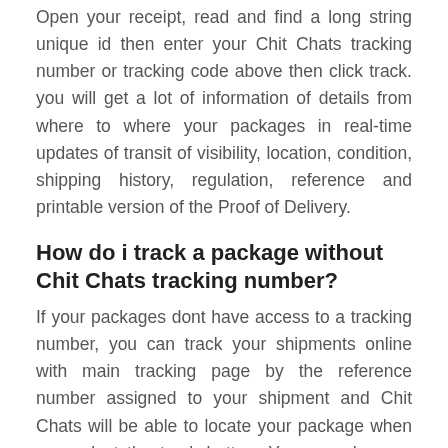Open your receipt, read and find a long string unique id then enter your Chit Chats tracking number or tracking code above then click track. you will get a lot of information of details from where to where your packages in real-time updates of transit of visibility, location, condition, shipping history, regulation, reference and printable version of the Proof of Delivery.
How do i track a package without Chit Chats tracking number?
If your packages dont have access to a tracking number, you can track your shipments online with main tracking page by the reference number assigned to your shipment and Chit Chats will be able to locate your package when you select the track button. You can also use Chit Chats InSight to track packages without a tracking code. Chit Chats InSight is a value-added service shipping history that can provide eligible customers with a new level of visibility